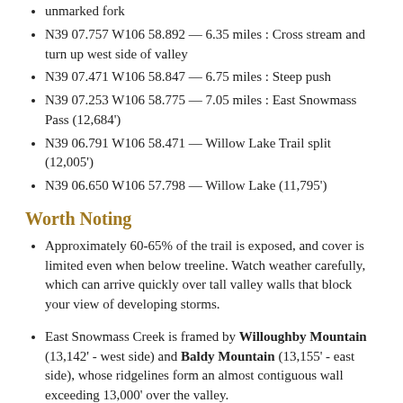unmarked fork
N39 07.757 W106 58.892 — 6.35 miles : Cross stream and turn up west side of valley
N39 07.471 W106 58.847 — 6.75 miles : Steep push
N39 07.253 W106 58.775 — 7.05 miles : East Snowmass Pass (12,684')
N39 06.791 W106 58.471 — Willow Lake Trail split (12,005')
N39 06.650 W106 57.798 — Willow Lake (11,795')
Worth Noting
Approximately 60-65% of the trail is exposed, and cover is limited even when below treeline. Watch weather carefully, which can arrive quickly over tall valley walls that block your view of developing storms.
East Snowmass Creek is framed by Willoughby Mountain (13,142' - west side) and Baldy Mountain (13,155' - east side), whose ridgelines form an almost contiguous wall exceeding 13,000' over the valley.
The trail's many miles of open, sunny slopes are rife with wildflowers.